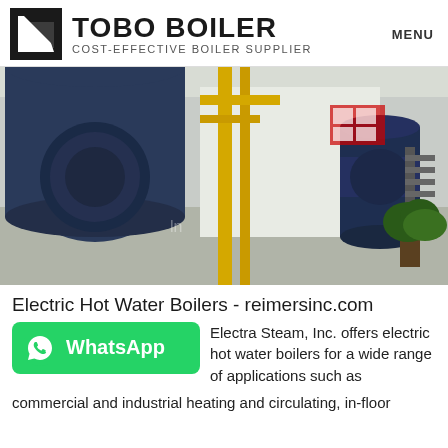TOBO BOILER — COST-EFFECTIVE BOILER SUPPLIER | MENU
[Figure (photo): Industrial boiler room with large blue cylindrical boilers, yellow gas pipes, and industrial equipment in a white-walled facility.]
Electric Hot Water Boilers - reimersinc.com
[Figure (logo): WhatsApp green button with phone icon and WhatsApp label]
Electra Steam, Inc. offers electric hot water boilers for a wide range of applications such as commercial and industrial heating and circulating, in-floor